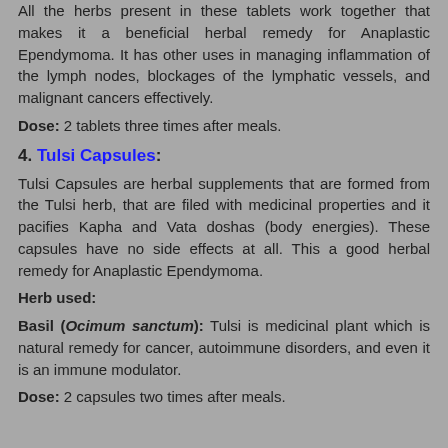All the herbs present in these tablets work together that makes it a beneficial herbal remedy for Anaplastic Ependymoma. It has other uses in managing inflammation of the lymph nodes, blockages of the lymphatic vessels, and malignant cancers effectively.
Dose: 2 tablets three times after meals.
4. Tulsi Capsules:
Tulsi Capsules are herbal supplements that are formed from the Tulsi herb, that are filed with medicinal properties and it pacifies Kapha and Vata doshas (body energies). These capsules have no side effects at all. This a good herbal remedy for Anaplastic Ependymoma.
Herb used:
Basil (Ocimum sanctum): Tulsi is medicinal plant which is natural remedy for cancer, autoimmune disorders, and even it is an immune modulator.
Dose: 2 capsules two times after meals.